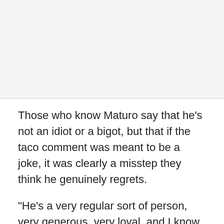[Figure (other): Empty grey area at top of page, likely an image placeholder]
Those who know Maturo say that he's not an idiot or a bigot, but that if the taco comment was meant to be a joke, it was clearly a misstep they think he genuinely regrets.
"He's a very regular sort of person, very generous, very loyal, and I know he cares very deeply about all of the people that the community," said Christopher (last name cut off)